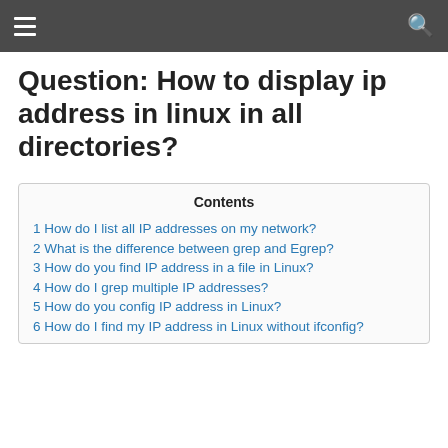☰ [hamburger menu] / [search icon]
Question: How to display ip address in linux in all directories?
Contents
1 How do I list all IP addresses on my network?
2 What is the difference between grep and Egrep?
3 How do you find IP address in a file in Linux?
4 How do I grep multiple IP addresses?
5 How do you config IP address in Linux?
6 How do I find my IP address in Linux without ifconfig?